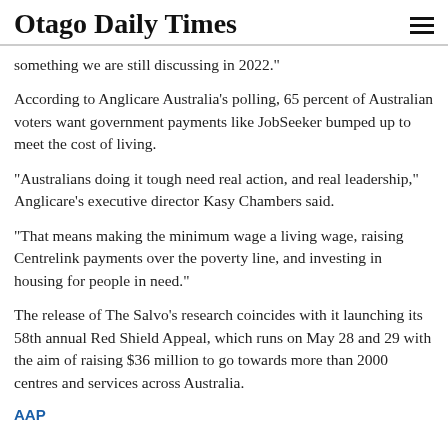Otago Daily Times
something we are still discussing in 2022."
According to Anglicare Australia's polling, 65 percent of Australian voters want government payments like JobSeeker bumped up to meet the cost of living.
"Australians doing it tough need real action, and real leadership," Anglicare's executive director Kasy Chambers said.
"That means making the minimum wage a living wage, raising Centrelink payments over the poverty line, and investing in housing for people in need."
The release of The Salvo's research coincides with it launching its 58th annual Red Shield Appeal, which runs on May 28 and 29 with the aim of raising $36 million to go towards more than 2000 centres and services across Australia.
AAP